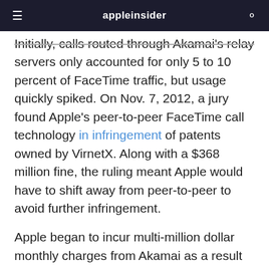appleinsider
Initially, calls routed through Akamai's relay servers only accounted for only 5 to 10 percent of FaceTime traffic, but usage quickly spiked. On Nov. 7, 2012, a jury found Apple's peer-to-peer FaceTime call technology in infringement of patents owned by VirnetX. Along with a $368 million fine, the ruling meant Apple would have to shift away from peer-to-peer to avoid further infringement.
Apple began to incur multi-million dollar monthly charges from Akamai as a result of the change. Testimony from the 2016 VirnetX retrial pegged relay fees at about $50 million between April